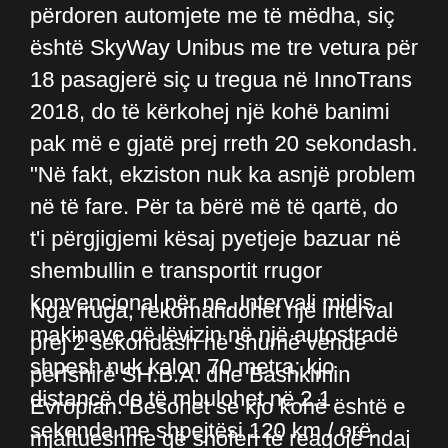përdoren automjete me të mëdha, siç është SkyWay Unibus me tre vetura për 18 pasagjerë siç u tregua në InnoTrans 2018, do të kërkohej një kohë banimi pak më e gjatë prej rreth 20 sekondash. "Në fakt, ekziston nuk ka asnjë problem në të fare. Për ta bërë më të qartë, do t'i përgjigjemi kësaj pyetjeje bazuar në shembullin e transportit rrugor konvencional për ne. Intervali midis makinave që lëvizin në një autostradë shpesh nuk kalon 70 metra; kjo distancë do të mbulohet në 2.1 sekonda me shpejtësi 120 km / orë.
Nga rruga, rekomandohet një interval prej 2 sekondash në shumë vende përfshirë SH.B.A. dhe Bashkimin Evropian. Besohet se kjo kohë është e mjaftueshme që shoferi të reagojë ndaj një situate emergjente dhe të marrë një vendim. Për automjetet e pajisura me vizion të makinerisë, ky interval mund të zvogëlohet edhe në 0.2 sekonda. Përshkrimi i teknologjisë tregon vetëm një interval të tillë. Disa automjete, numri i të cileve mund të